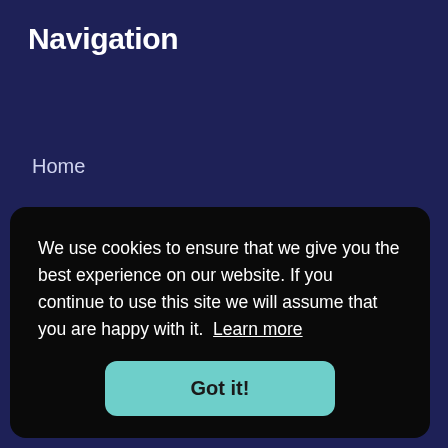Navigation
Home
About
Events & Awards
News
We use cookies to ensure that we give you the best experience on our website. If you continue to use this site we will assume that you are happy with it. Learn more
Got it!